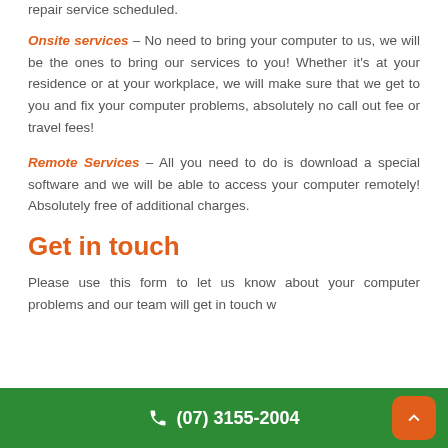repair service scheduled.
Onsite services – No need to bring your computer to us, we will be the ones to bring our services to you! Whether it's at your residence or at your workplace, we will make sure that we get to you and fix your computer problems, absolutely no call out fee or travel fees!
Remote Services – All you need to do is download a special software and we will be able to access your computer remotely! Absolutely free of additional charges.
Get in touch
Please use this form to let us know about your computer problems and our team will get in touch w
(07) 3155-2004